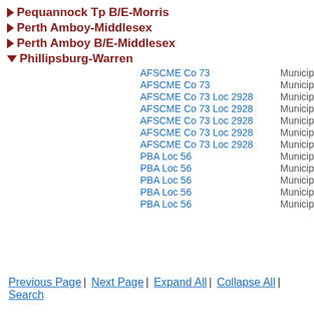▶ Pequannock Tp B/E-Morris
▶ Perth Amboy-Middlesex
▶ Perth Amboy B/E-Middlesex
▼ Phillipsburg-Warren
AFSCME Co 73 | Municip
AFSCME Co 73 | Municip
AFSCME Co 73 Loc 2928 | Municip
AFSCME Co 73 Loc 2928 | Municip
AFSCME Co 73 Loc 2928 | Municip
AFSCME Co 73 Loc 2928 | Municip
AFSCME Co 73 Loc 2928 | Municip
PBA Loc 56 | Municip
PBA Loc 56 | Municip
PBA Loc 56 | Municip
PBA Loc 56 | Municip
PBA Loc 56 | Municip
Previous Page | Next Page | Expand All | Collapse All | Search